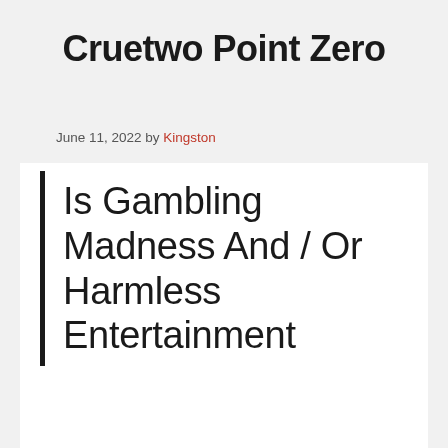Cruetwo Point Zero
June 11, 2022 by Kingston
Is Gambling Madness And / Or Harmless Entertainment